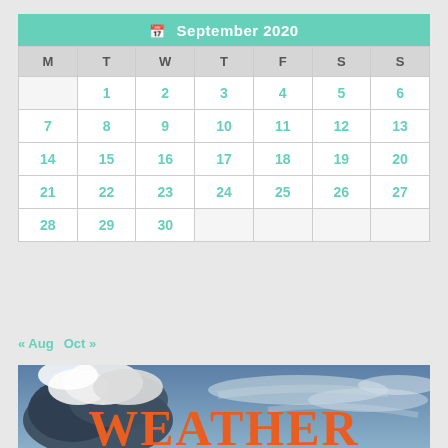| M | T | W | T | F | S | S |
| --- | --- | --- | --- | --- | --- | --- |
|  | 1 | 2 | 3 | 4 | 5 | 6 |
| 7 | 8 | 9 | 10 | 11 | 12 | 13 |
| 14 | 15 | 16 | 17 | 18 | 19 | 20 |
| 21 | 22 | 23 | 24 | 25 | 26 | 27 |
| 28 | 29 | 30 |  |  |  |  |
« Aug  Oct »
[Figure (photo): Sky photo with dramatic clouds (cumulus and cirrus) against blue sky, with large orange text 'WEATHER' overlaid at the bottom.]